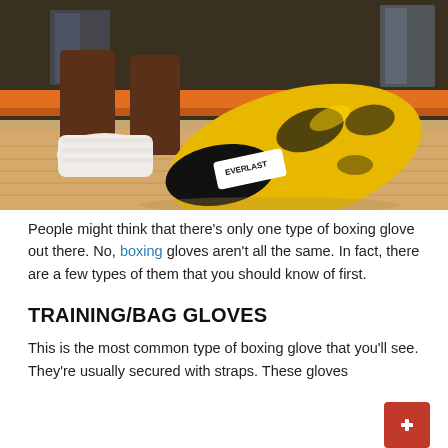[Figure (photo): Yellow and black Everlast boxing gloves resting on a wooden gym floor next to a hand wrapped in white tape. Background shows a gym with orange accents.]
People might think that there's only one type of boxing glove out there. No, boxing gloves aren't all the same. In fact, there are a few types of them that you should know of first.
TRAINING/BAG GLOVES
This is the most common type of boxing glove that you'll see. They're usually secured with straps. These gloves